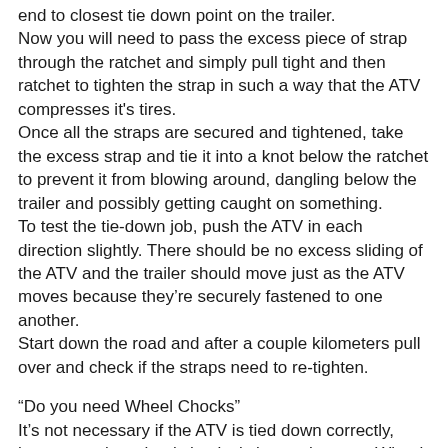end to closest tie down point on the trailer. Now you will need to pass the excess piece of strap through the ratchet and simply pull tight and then ratchet to tighten the strap in such a way that the ATV compresses it's tires. Once all the straps are secured and tightened, take the excess strap and tie it into a knot below the ratchet to prevent it from blowing around, dangling below the trailer and possibly getting caught on something. To test the tie-down job, push the ATV in each direction slightly. There should be no excess sliding of the ATV and the trailer should move just as the ATV moves because they're securely fastened to one another. Start down the road and after a couple kilometers pull over and check if the straps need to re-tighten.
“Do you need Wheel Chocks”
It’s not necessary if the ATV is tied down correctly, however using wheel chocks is better than not. Wheel chocks work best if they are attached to the trailer deck or pickup bed.